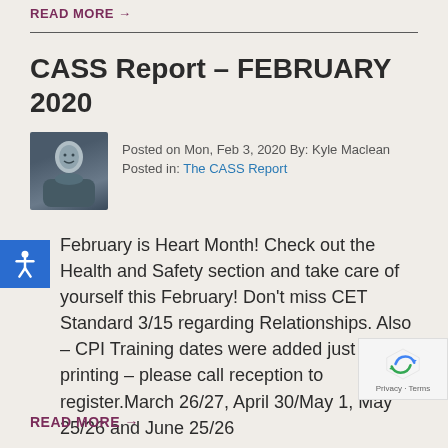READ MORE →
CASS Report – FEBRUARY 2020
Posted on Mon, Feb 3, 2020 By: Kyle Maclean
Posted in: The CASS Report
February is Heart Month! Check out the Health and Safety section and take care of yourself this February! Don't miss CET Standard 3/15 regarding Relationships. Also – CPI Training dates were added just after printing – please call reception to register.March 26/27, April 30/May 1, May 25/26 and June 25/26
READ MORE →